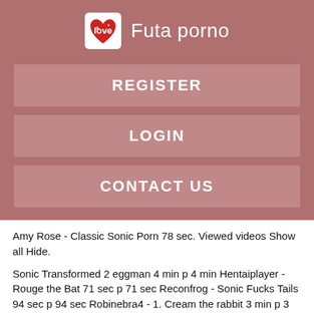Futa porno
REGISTER
LOGIN
CONTACT US
Amy Rose - Classic Sonic Porn 78 sec. Viewed videos Show all Hide.
Sonic Transformed 2 eggman 4 min p 4 min Hentaiplayer - Rouge the Bat 71 sec p 71 sec Reconfrog - Sonic Fucks Tails 94 sec p 94 sec Robinebra4 - 1. Cream the rabbit 3 min p 3 min Jeremyreudiger - Giant Video game compliation 17 min 17 min Iloko - 5. Tangle Tailjob 62 sec p 62 sec Beachside Bunnies - Commission death56 92 sec p 92 sec Stuntman Lopez - Game Of